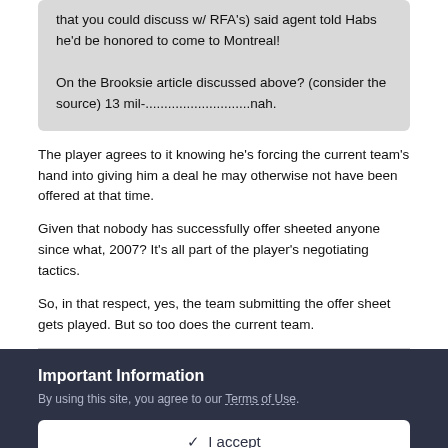that you could discuss w/ RFA's) said agent told Habs he'd be honored to come to Montreal!

On the Brooksie article discussed above? (consider the source) 13 mil-............................nah.
The player agrees to it knowing he's forcing the current team's hand into giving him a deal he may otherwise not have been offered at that time.
Given that nobody has successfully offer sheeted anyone since what, 2007? It's all part of the player's negotiating tactics.
So, in that respect, yes, the team submitting the offer sheet gets played. But so too does the current team.
Important Information
By using this site, you agree to our Terms of Use.
✓  I accept